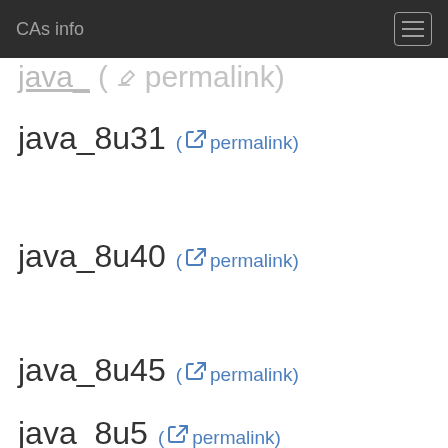CAs info
java_8u31 ( permalink)
java_8u40 ( permalink)
java_8u45 ( permalink)
java_8u5... ( permalink)